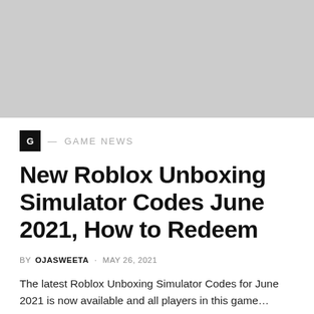[Figure (photo): Gray placeholder image at top of article]
G — GAME NEWS
New Roblox Unboxing Simulator Codes June 2021, How to Redeem
BY OJASWEETA · MAY 26, 2021
The latest Roblox Unboxing Simulator Codes for June 2021 is now available and all players in this game…